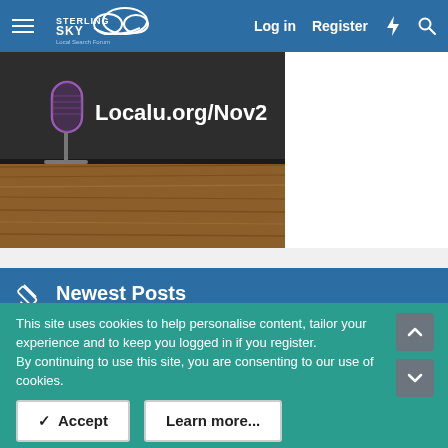Sterling Sky Local Search Forum — Log in | Register
[Figure (screenshot): Banner image showing a vintage microphone with text 'Localu.org/Nov2' on a dark chalkboard background with wooden surface]
Newest Posts
Removing a bad yelp review by deleting the account and re-creating it?
Latest: Teresa Gaunt · 8 minutes ago
Local Search
This site uses cookies to help personalise content, tailor your experience and to keep you logged in if you register.
By continuing to use this site, you are consenting to our use of cookies.
✓ Accept | Learn more...